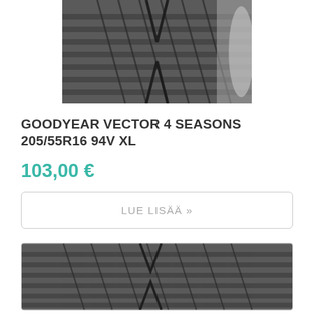[Figure (photo): Close-up photo of a Goodyear Vector 4 Seasons tire tread pattern, top portion cropped]
GOODYEAR VECTOR 4 SEASONS 205/55R16 94V XL
103,00 €
LUE LISÄÄ »
[Figure (photo): Close-up photo of another tire tread pattern, bottom portion visible]